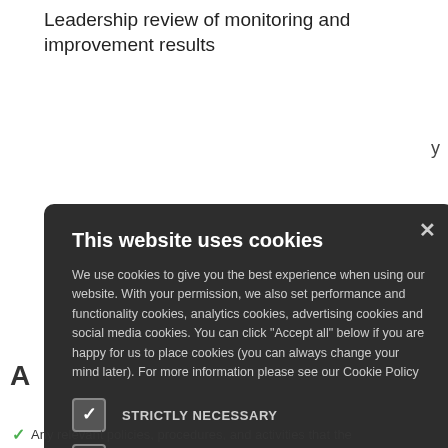Leadership review of monitoring and improvement results
[Figure (screenshot): Cookie consent modal dialog on a dark background with title 'This website uses cookies', body text explaining cookie usage, checkboxes for STRICTLY NECESSARY (checked), PERFORMANCE, ANALYTICS, FUNCTIONALITY, SOCIAL MEDIA, and two buttons: ACCEPT ALL (green) and DECLINE ALL (outlined).]
Any relevant policies, procedures, and activities that the